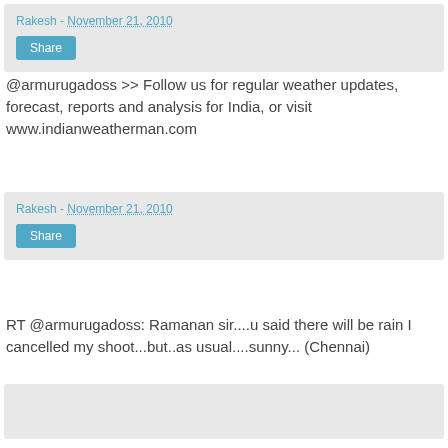Rakesh - November 21, 2010
Share
@armurugadoss >> Follow us for regular weather updates, forecast, reports and analysis for India, or visit www.indianweatherman.com
Rakesh - November 21, 2010
Share
RT @armurugadoss: Ramanan sir....u said there will be rain I cancelled my shoot...but..as usual....sunny... (Chennai)